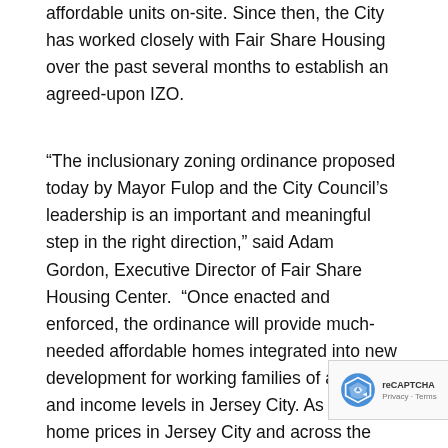affordable units on-site. Since then, the City has worked closely with Fair Share Housing over the past several months to establish an agreed-upon IZO.
“The inclusionary zoning ordinance proposed today by Mayor Fulop and the City Council’s leadership is an important and meaningful step in the right direction,” said Adam Gordon, Executive Director of Fair Share Housing Center. “Once enacted and enforced, the ordinance will provide much-needed affordable homes integrated into new development for working families of all sizes and income levels in Jersey City. As rents and home prices in Jersey City and across the state reach record highs, it is critical that towns and cities enact policies to ensure that new development is inclusive and equitable so that working families are not displaced. We are committed to working with local advocates and elected officials to ensure that everyone that lives and works in Jersey City will have a safe, decent, affordable home — now